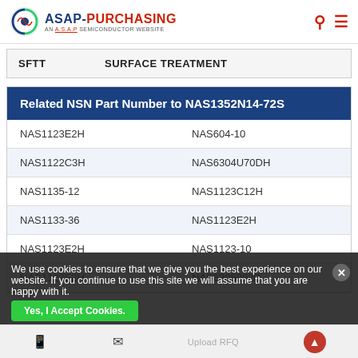ASAP-PURCHASING AN A.S.A.P SEMICONDUCTOR WEBSITE
| Code | Description |
| --- | --- |
| SFTT | SURFACE TREATMENT |
Related NSN Part Number to NAS1352N14-72S
| Part Number 1 | Part Number 2 |
| --- | --- |
| NAS1123E2H | NAS604-10 |
| NAS1122C3H | NAS6304U70DH |
| NAS1135-12 | NAS1123C12H |
| NAS1133-36 | NAS1123E2H |
| NAS1123E2H | NAS1123-10 |
| NAS1122E2H | NAS6305082D |
We use cookies to ensure that we give you the best experience on our website. If you continue to use this site we will assume that you are happy with it.
Yes, I Accept Cookies. Upload RFQ